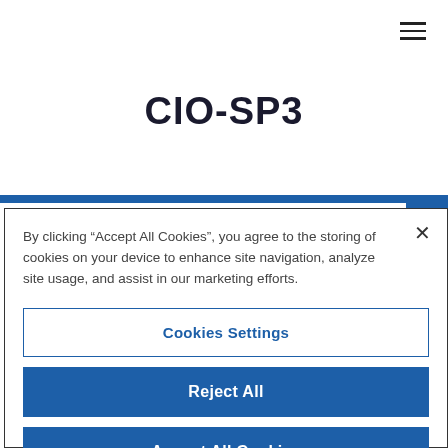CIO-SP3
By clicking “Accept All Cookies”, you agree to the storing of cookies on your device to enhance site navigation, analyze site usage, and assist in our marketing efforts.
Cookies Settings
Reject All
Accept All Cookies